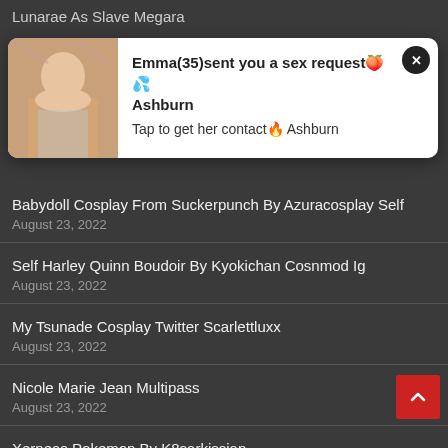Lunarae As Slave Megara
[Figure (screenshot): Advertisement overlay with a photo and text: Emma(35)sent you a sex request Ashburn. Tap to get her contact Ashburn.]
Babydoll Cosplay From Suckerpunch By Azuracosplay Self
August 23, 2022
Self Harley Quinn Boudoir By Kyokichan Cosnmod Ig
August 23, 2022
My Tsunade Cosplay Twitter Scarlettluxx
August 23, 2022
Nicole Marie Jean Multipass
August 23, 2022
Xerneas Pokemon By K8sarkissian
August 23, 2022